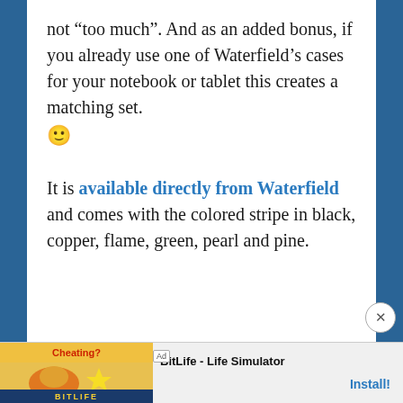not “too much”. And as an added bonus, if you already use one of Waterfield’s cases for your notebook or tablet this creates a matching set. 🙂
It is available directly from Waterfield and comes with the colored stripe in black, copper, flame, green, pearl and pine.
[Figure (other): Advertisement banner at the bottom: Ad badge, BitLife Life Simulator app ad with yellow/red illustrated image on left, BitLife logo in red box, app name and Install button on right.]